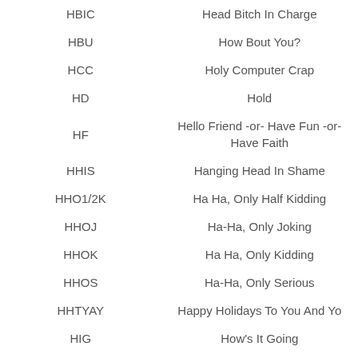| Abbreviation | Meaning |
| --- | --- |
| HBIC | Head Bitch In Charge |
| HBU | How Bout You? |
| HCC | Holy Computer Crap |
| HD | Hold |
| HF | Hello Friend -or- Have Fun -or- Have Faith |
| HHIS | Hanging Head In Shame |
| HHO1/2K | Ha Ha, Only Half Kidding |
| HHOJ | Ha-Ha, Only Joking |
| HHOK | Ha Ha, Only Kidding |
| HHOS | Ha-Ha, Only Serious |
| HHTYAY | Happy Holidays To You And Yours |
| HIG | How's It Going |